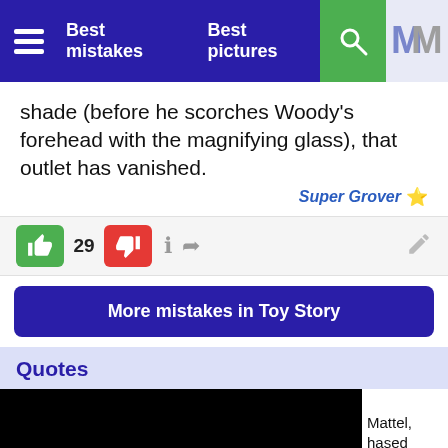Best mistakes   Best pictures
shade (before he scorches Woody's forehead with the magnifying glass), that outlet has vanished.
Super Grover ★
29
More mistakes in Toy Story
Quotes
[Figure (screenshot): Video player with black background showing a play button, partially visible text on right side reading 'Mattel, hased']